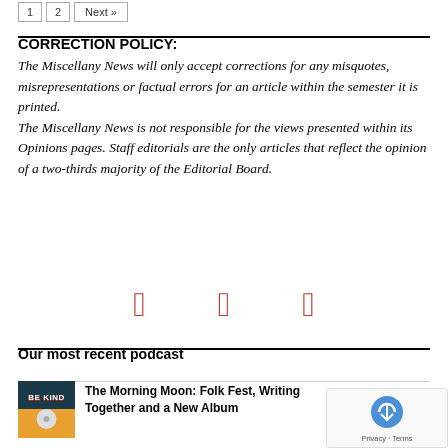1  2  Next »
CORRECTION POLICY:
The Miscellany News will only accept corrections for any misquotes, misrepresentations or factual errors for an article within the semester it is printed. The Miscellany News is not responsible for the views presented within its Opinions pages. Staff editorials are the only articles that reflect the opinion of a two-thirds majority of the Editorial Board.
[Figure (other): Three social media icon buttons in red/crimson color]
Our most recent podcast
[Figure (illustration): Podcast thumbnail showing 'BE KIND' text on colorful background]
The Morning Moon: Folk Fest, Writing Together and a New Album